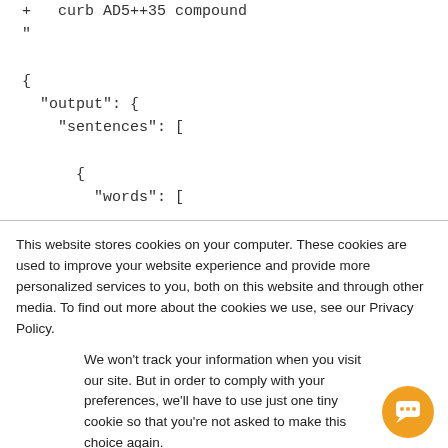+ curb AD5++35 compound
"
{
  "output": {
    "sentences": [
      {
        "words": [
This website stores cookies on your computer. These cookies are used to improve your website experience and provide more personalized services to you, both on this website and through other media. To find out more about the cookies we use, see our Privacy Policy.
We won't track your information when you visit our site. But in order to comply with your preferences, we'll have to use just one tiny cookie so that you're not asked to make this choice again.
Accept
Decline